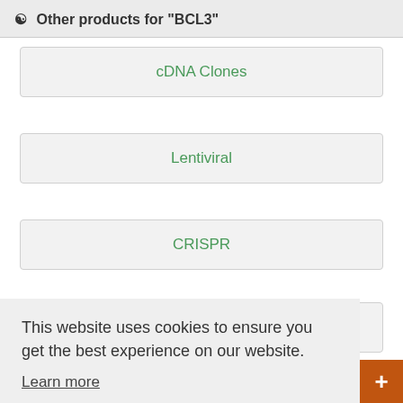Other products for "BCL3"
cDNA Clones
Lentiviral
CRISPR
RNAi
This website uses cookies to ensure you get the best experience on our website.
Learn more
Got it!
elays our eeks in
Live Chat Online